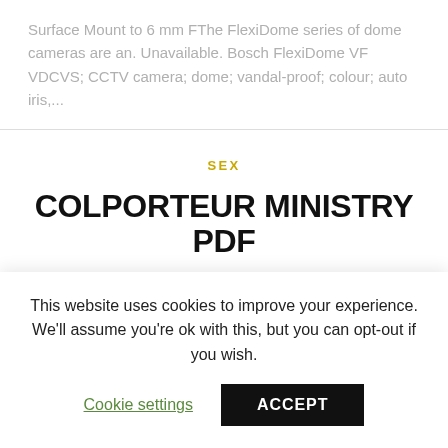Surface Mount to 6 mm FThe FlexiDome series of dome cameras are an. Unavailable. Bosch FlexiDome VF VDCVS; CCTV camera; dome; vandal-proof; colour; auto iris,...
SEX
COLPORTEUR MINISTRY PDF
By admin | July 11, 2022
These counsels from Ellen G. White will inspire colporteur
This website uses cookies to improve your experience. We'll assume you're ok with this, but you can opt-out if you wish.
Cookie settings
ACCEPT